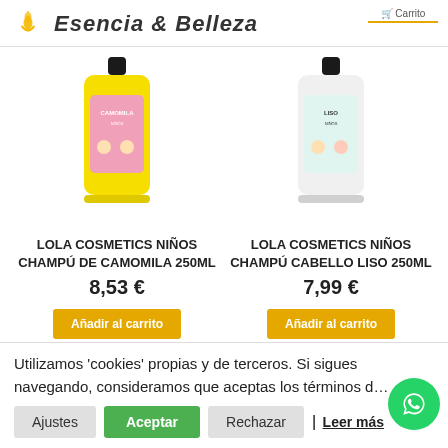Esencia & Belleza
[Figure (photo): Yellow bottle product - LOLA COSMETICS NIÑOS CHAMPÚ DE CAMOMILA 250ML]
[Figure (photo): White bottle product - LOLA COSMETICS NIÑOS CHAMPÚ CABELLO LISO 250ML]
LOLA COSMETICS NIÑOS CHAMPÚ DE CAMOMILA 250ML
8,53 €
Añadir al carrito
LOLA COSMETICS NIÑOS CHAMPÚ CABELLO LISO 250ML
7,99 €
Añadir al carrito
Utilizamos 'cookies' propias y de terceros. Si sigues navegando, consideramos que aceptas los términos d...
Ajustes | Aceptar | Rechazar | Leer más